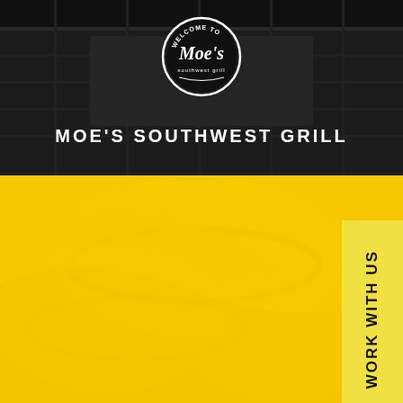[Figure (logo): Moe's Southwest Grill circular logo with 'Welcome To' text at top, in white on dark background]
MOE'S SOUTHWEST GRILL
[Figure (photo): Yellow-toned photo of food/restaurant items forming the bottom half background]
WORK WITH US